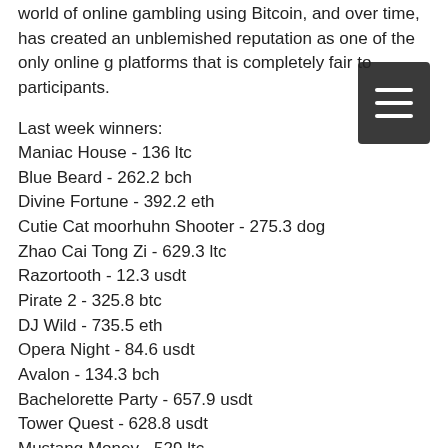world of online gambling using Bitcoin, and over time, has created an unblemished reputation as one of the only online g platforms that is completely fair to participants.
Last week winners:
Maniac House - 136 ltc
Blue Beard - 262.2 bch
Divine Fortune - 392.2 eth
Cutie Cat moorhuhn Shooter - 275.3 dog
Zhao Cai Tong Zi - 629.3 ltc
Razortooth - 12.3 usdt
Pirate 2 - 325.8 btc
DJ Wild - 735.5 eth
Opera Night - 84.6 usdt
Avalon - 134.3 bch
Bachelorette Party - 657.9 usdt
Tower Quest - 628.8 usdt
Mustang Money - 529 ltc
Golden Royals - 363 usdt
Ghostbusters - 703.4 bch